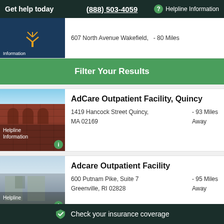Get help today  (888) 503-4059  ? Helpline Information
607 North Avenue Wakefield,   - 80 Miles
Filter Your Results
[Figure (photo): Partial card with dark blue background and trident icon, with overlay text 'Information']
[Figure (photo): Photo of a red brick historic building with ornate architecture and blue sky. Overlay text: 'Helpline Information']
AdCare Outpatient Facility, Quincy
1419 Hancock Street Quincy,    - 93 Miles Away
MA 02169
[Figure (photo): Photo of a suburban outpatient facility building with light stone exterior and sky. Overlay text: 'Helpline']
Adcare Outpatient Facility
600 Putnam Pike, Suite 7    - 95 Miles Away
Greenville, RI 02828
Check your insurance coverage